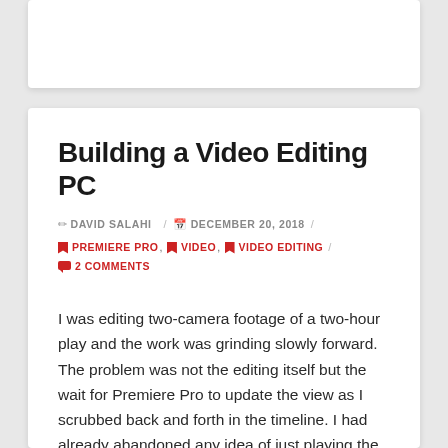Building a Video Editing PC
✏ DAVID SALAHI / 📅 DECEMBER 20, 2018 / 🔖 PREMIERE PRO , 🔖 VIDEO , 🔖 VIDEO EDITING / 💬 2 COMMENTS
I was editing two-camera footage of a two-hour play and the work was grinding slowly forward. The problem was not the editing itself but the wait for Premiere Pro to update the view as I scrubbed back and forth in the timeline. I had already abandoned any idea of just playing the footage and marking specific points to cut. That was impossibly slow and the audio and video were